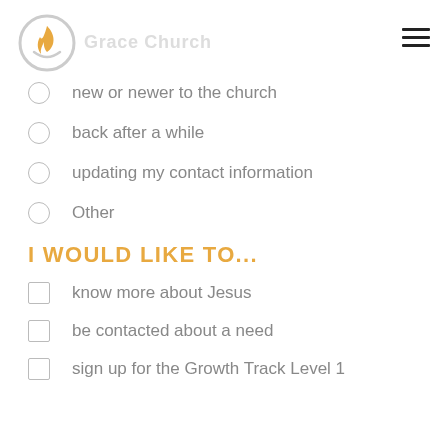[Figure (logo): Church logo: circular icon with flame/candle graphic in orange and grey, with faded text to the right]
new or newer to the church
back after a while
updating my contact information
Other
I WOULD LIKE TO...
know more about Jesus
be contacted about a need
sign up for the Growth Track Level 1